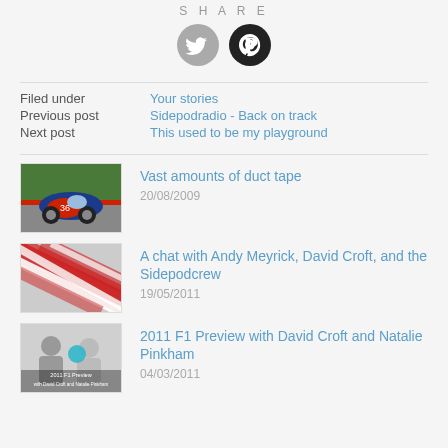SHARE
[Figure (infographic): Two social media share icons: Twitter (grey circle with bird) and Pinterest (black circle with P logo)]
Filed under: Your stories
Previous post: Sidepodradio - Back on track
Next post: This used to be my playground
[Figure (photo): A blue and red Citroen 2CV racing car on a race track with a green grass background]
Vast amounts of duct tape
20/08/2009
[Figure (photo): Blurred red and white diagonal stripes motion blur image]
A chat with Andy Meyrick, David Croft, and the Sidepodcrew
19/05/2011
[Figure (photo): 2011 F1 Preview thumbnail with David Croft and Natalie Pinkham silhouettes and text overlay]
2011 F1 Preview with David Croft and Natalie Pinkham
04/03/2011